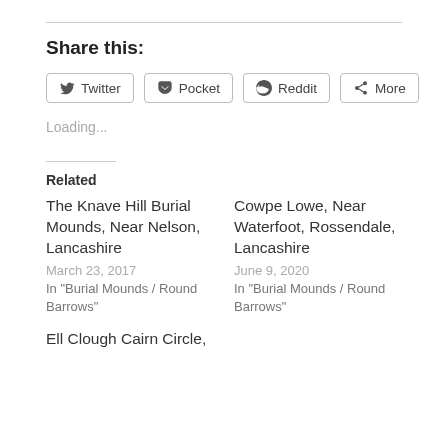Share this:
[Figure (other): Share buttons row: Twitter, Pocket, Reddit, More]
Loading...
Related
The Knave Hill Burial Mounds, Near Nelson, Lancashire
March 23, 2017
In "Burial Mounds / Round Barrows"
Cowpe Lowe, Near Waterfoot, Rossendale, Lancashire
June 9, 2020
In "Burial Mounds / Round Barrows"
Ell Clough Cairn Circle,